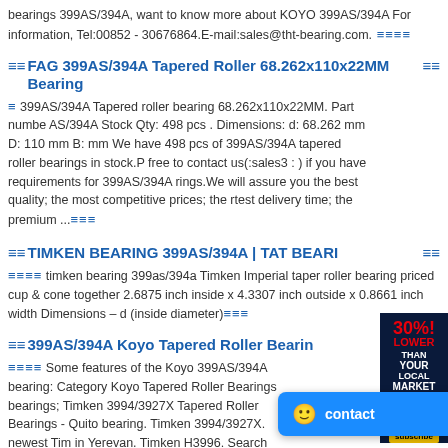bearings 399AS/394A, want to know more about KOYO 399AS/394A For information, Tel:00852 - 30676864.E-mail:sales@tht-bearing.com.
FAG 399AS/394A Tapered Roller 68.262x110x22MM Bearing
399AS/394A Tapered roller bearing 68.262x110x22MM. Part number AS/394A Stock Qty: 498 pcs . Dimensions: d: 68.262 mm D: 110 mm B: mm We have 498 pcs of 399AS/394A tapered roller bearings in stock. free to contact us(:sales3 : ) if you have requirements for 399AS/394A rings.We will assure you the best quality; the most competitive prices; the rtest delivery time; the premium ...
TIMKEN BEARING 399AS/394A | TAT BEARI
timken bearing 399as/394a Timken Imperial taper roller bearing priced cup & cone together 2.6875 inch inside x 4.3307 inch outside x 0.8661 inch width Dimensions – d (inside diameter)
399AS/394A Koyo Tapered Roller Bearin
Some features of the Koyo 399AS/394A bearing: Category Koyo Tapered Roller Bearings bearings; Timken 3994/3927X Tapered Roller Bearings - Quito bearing. Timken 3994/3927X. newest Ti in Yerevan. Timken H3996. Search Timken 3992/3920 Be Bearing Designations, References,Nomenclature Shop.